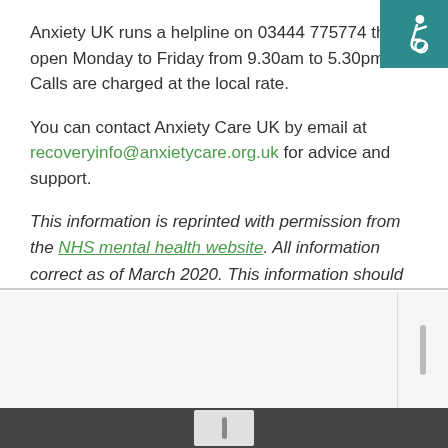[Figure (illustration): Accessibility icon (wheelchair symbol) on teal background, top-right corner]
Anxiety UK runs a helpline on 03444 775774 that's open Monday to Friday from 9.30am to 5.30pm. Calls are charged at the local rate.
You can contact Anxiety Care UK by email at recoveryinfo@anxietycare.org.uk for advice and support.
This information is reprinted with permission from the NHS mental health website. All information correct as of March 2020. This information should not constitute medical advice, and is not intended to replace medical diagnosis by a professional. If you are concerned about this issue, please speak to your GP in the first instance.